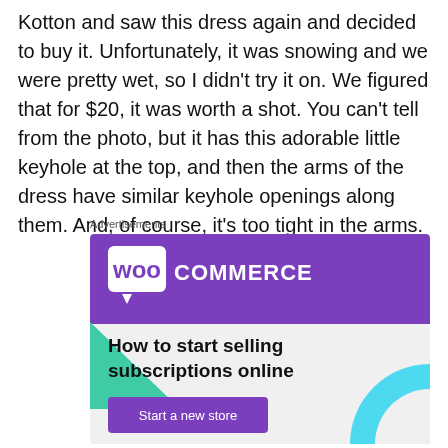Kotton and saw this dress again and decided to buy it. Unfortunately, it was snowing and we were pretty wet, so I didn't try it on. We figured that for $20, it was worth a shot. You can't tell from the photo, but it has this adorable little keyhole at the top, and then the arms of the dress have similar keyhole openings along them. And, of course, it's too tight in the arms.
Advertisements
[Figure (illustration): WooCommerce advertisement banner with purple header containing the WooCommerce logo, teal triangle decoration on the left, light blue arc on the right, headline 'How to start selling subscriptions online', and a purple 'Start a new store' button.]